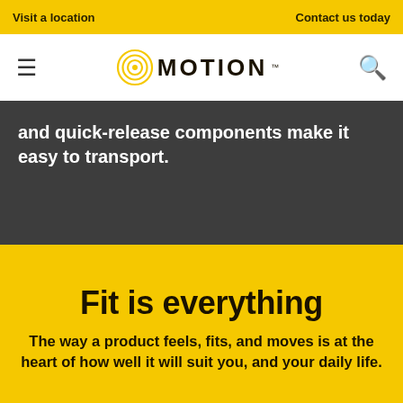Visit a location | Contact us today
[Figure (logo): Motion logo with concentric circle icon and MOTION wordmark]
and quick-release components make it easy to transport.
Fit is everything
The way a product feels, fits, and moves is at the heart of how well it will suit you, and your daily life.